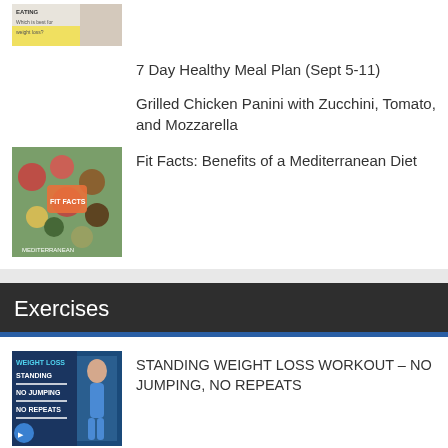[Figure (photo): Thumbnail image with text EATING, Which is best for weight loss?]
7 Day Healthy Meal Plan (Sept 5-11)
Grilled Chicken Panini with Zucchini, Tomato, and Mozzarella
[Figure (photo): Thumbnail image of Mediterranean diet foods - vegetables, fruits, salmon]
Fit Facts: Benefits of a Mediterranean Diet
Exercises
[Figure (photo): Thumbnail for Standing Weight Loss Workout video - blue background with woman figure]
STANDING WEIGHT LOSS WORKOUT – NO JUMPING, NO REPEATS
[Figure (photo): Partial thumbnail at bottom of page, blue/teal color]